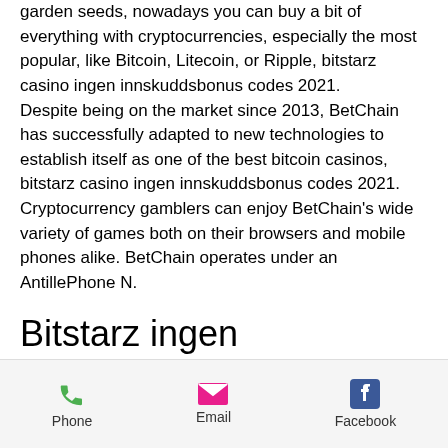…From stylish luxury goods to humble garden seeds, nowadays you can buy a bit of everything with cryptocurrencies, especially the most popular, like Bitcoin, Litecoin, or Ripple, bitstarz casino ingen innskuddsbonus codes 2021. Despite being on the market since 2013, BetChain has successfully adapted to new technologies to establish itself as one of the best bitcoin casinos, bitstarz casino ingen innskuddsbonus codes 2021. Cryptocurrency gamblers can enjoy BetChain's wide variety of games both on their browsers and mobile phones alike. BetChain operates under an AntillePhone N.
Bitstarz ingen insättningsbonus 20
Phone   Email   Facebook